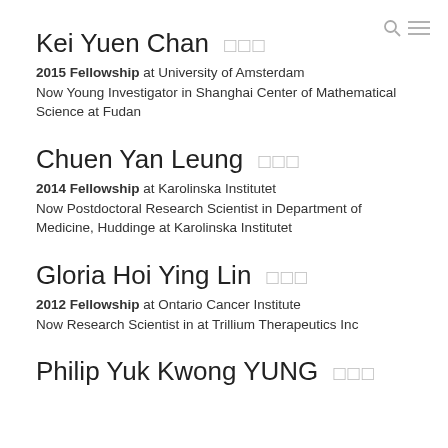search and menu icons
Kei Yuen Chan
2015 Fellowship at University of Amsterdam
Now Young Investigator in Shanghai Center of Mathematical Science at Fudan
Chuen Yan Leung
2014 Fellowship at Karolinska Institutet
Now Postdoctoral Research Scientist in Department of Medicine, Huddinge at Karolinska Institutet
Gloria Hoi Ying Lin
2012 Fellowship at Ontario Cancer Institute
Now Research Scientist in at Trillium Therapeutics Inc
Philip Yuk Kwong YUNG